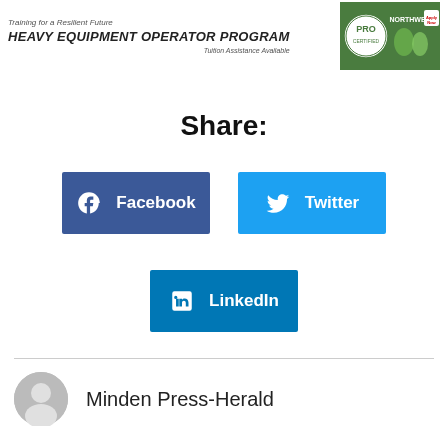[Figure (infographic): Banner advertisement for Heavy Equipment Operator Program with green PRO Northwest logo badge and Apply Now button]
Share:
[Figure (infographic): Facebook share button - dark blue rectangle with Facebook logo icon and text 'Facebook']
[Figure (infographic): Twitter share button - light blue rectangle with Twitter bird logo icon and text 'Twitter']
[Figure (infographic): LinkedIn share button - medium blue rectangle with LinkedIn logo icon and text 'LinkedIn']
Minden Press-Herald